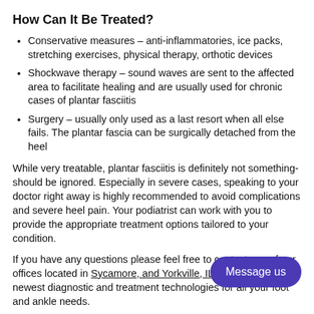How Can It Be Treated?
Conservative measures – anti-inflammatories, ice packs, stretching exercises, physical therapy, orthotic devices
Shockwave therapy – sound waves are sent to the affected area to facilitate healing and are usually used for chronic cases of plantar fasciitis
Surgery – usually only used as a last resort when all else fails. The plantar fascia can be surgically detached from the heel
While very treatable, plantar fasciitis is definitely not something that should be ignored. Especially in severe cases, speaking to your doctor right away is highly recommended to avoid complications and severe heel pain. Your podiatrist can work with you to provide the appropriate treatment options tailored to your condition.
If you have any questions please feel free to contact one of our offices located in Sycamore, and Yorkville, IL . We offer the newest diagnostic and treatment technologies for all your foot and ankle needs.
Read more about Plantar Fasciitis
Read more...
[Figure (other): Purple rounded rectangle button with white text reading 'Message us']